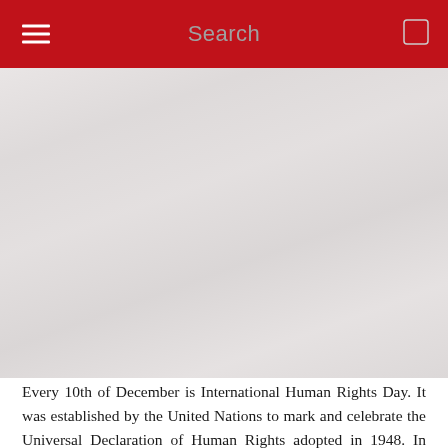Search
[Figure (photo): Large faded/washed out photograph area, likely showing people or an event related to Human Rights Day, rendered in muted grey-red tones.]
Every 10th of December is International Human Rights Day. It was established by the United Nations to mark and celebrate the Universal Declaration of Human Rights adopted in 1948. In 2019, the Building and Wood Workers' International is joining with the Global Unions in a Plan of Action to form a new